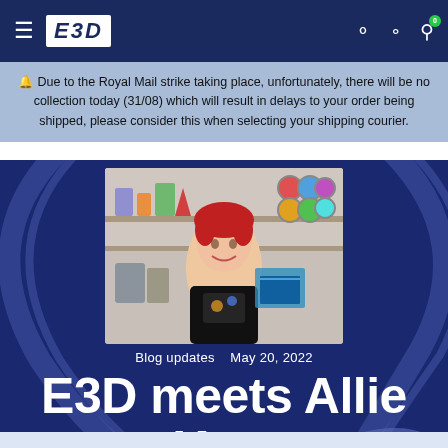E3D
🔔 Due to the Royal Mail strike taking place, unfortunately, there will be no collection today (31/08) which will result in delays to your order being shipped, please consider this when selecting your shipping courier.
[Figure (photo): Photo of Allie Katz, a woman with red hair wearing a black graphic t-shirt, standing in front of shelves with 3D printed objects and filament spools.]
Blog updates   May 20, 2022
E3D meets Allie Katz